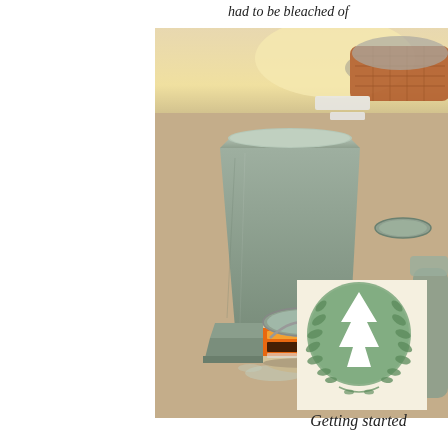had to be bleached of
[Figure (photo): Outdoor scene with a painted concrete pedestal/column base on cardboard. An open paint can showing sage/grey-green paint is visible in the foreground. Additional garden items and brickwork visible in background.]
[Figure (logo): Circular green badge with a white tree icon in center and decorative olive/laurel branches forming a wreath around it, overlaid on a cream/beige square background.]
Getting started